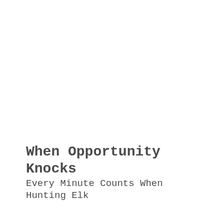When Opportunity Knocks
Every Minute Counts When Hunting Elk